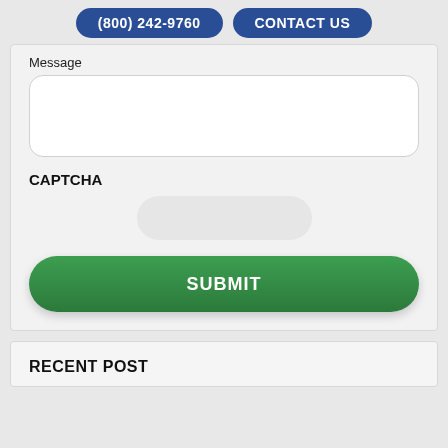(800) 242-9760  CONTACT US
Message
[Figure (screenshot): Empty message textarea input box with rounded corners]
CAPTCHA
[Figure (screenshot): CAPTCHA widget with rounded pill shape]
SUBMIT
RECENT POST